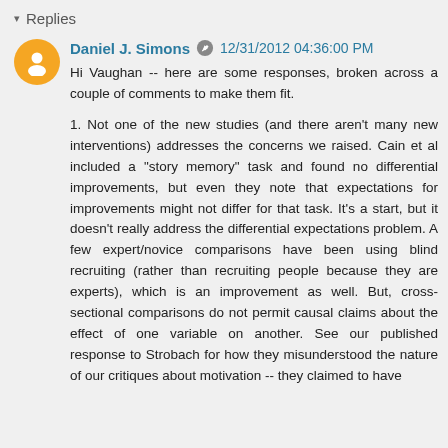▾ Replies
Daniel J. Simons  12/31/2012 04:36:00 PM
Hi Vaughan -- here are some responses, broken across a couple of comments to make them fit.

1. Not one of the new studies (and there aren't many new interventions) addresses the concerns we raised. Cain et al included a "story memory" task and found no differential improvements, but even they note that expectations for improvements might not differ for that task. It's a start, but it doesn't really address the differential expectations problem. A few expert/novice comparisons have been using blind recruiting (rather than recruiting people because they are experts), which is an improvement as well. But, cross-sectional comparisons do not permit causal claims about the effect of one variable on another. See our published response to Strobach for how they misunderstood the nature of our critiques about motivation -- they claimed to have